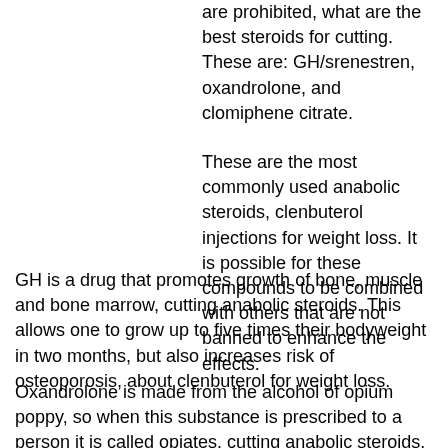are prohibited, what are the best steroids for cutting. These are: GH/srenestren, oxandrolone, and clomiphene citrate.
These are the most commonly used anabolic steroids, clenbuterol injections for weight loss. It is possible for these compounds to be combined with others that are not banned to enhance the effects.
GH is a drug that promotes growth of bone, muscle and bone marrow, cutting anabolic steroids. This allows one to grow up to five times their bodyweight in two months, but also increases risk of osteoporosis, about clenbuterol for weight loss.
Oxandrolone is made from the alcohol of opium poppy, so when this substance is prescribed to a person it is called opiates, cutting anabolic steroids. Oxandrolone can be used in various ways and is usually given